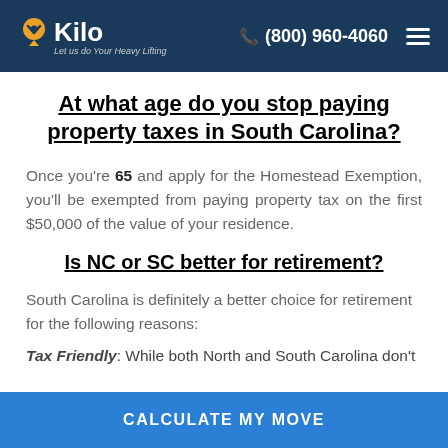Kilo — Let us do Your Heavy Lifting | (800) 960-4060
At what age do you stop paying property taxes in South Carolina?
Once you're 65 and apply for the Homestead Exemption, you'll be exempted from paying property tax on the first $50,000 of the value of your residence.
Is NC or SC better for retirement?
South Carolina is definitely a better choice for retirement for the following reasons:
Tax Friendly: While both North and South Carolina don't
CALCULATE MY MOVE